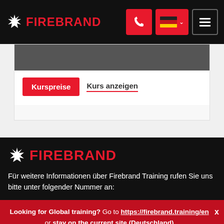FIREBRAND
Kurspreise   Kurs anzeigen
[Figure (logo): Firebrand logo with red text and white starburst icon on black background]
Für weitere Informationen über Firebrand Training rufen Sie uns bitte unter folgender Nummer an:
Looking for Global training? Go to https://firebrand.training/en or stay on the current site (Deutschland)